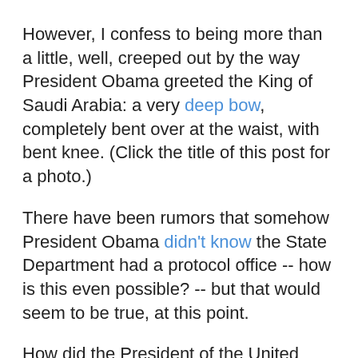However, I confess to being more than a little, well, creeped out by the way President Obama greeted the King of Saudi Arabia: a very deep bow, completely bent over at the waist, with bent knee. (Click the title of this post for a photo.)
There have been rumors that somehow President Obama didn't know the State Department had a protocol office -- how is this even possible? -- but that would seem to be true, at this point.
How did the President of the United States miss the memo that Americans -- most especially the President of our country -- do not bow, bend the knee, and show submission to foreign monarchs?
And if he's going to bow, what's with the bent knee full bow to the Saudi Arabian monarch, but the head nod to the Queen of the nation which is our closest ally?
Moreover, if an ordinary American citizen such as myself happened to know that the Queen already had an iPod -- it